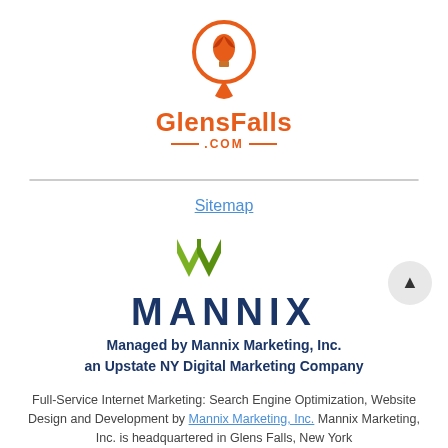[Figure (logo): GlensFalls.com logo — orange map pin with hot air balloon, text 'GlensFalls' and '.COM' below]
Search GlensFalls.com
Sitemap
[Figure (logo): Mannix Marketing logo — green double-M chevron above dark blue MANNIX wordmark]
Managed by Mannix Marketing, Inc.
an Upstate NY Digital Marketing Company
Full-Service Internet Marketing: Search Engine Optimization, Website Design and Development by Mannix Marketing, Inc. Mannix Marketing, Inc. is headquartered in Glens Falls, New York